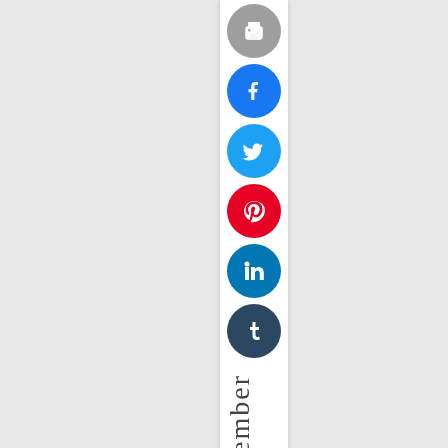[Figure (other): Social media sharing sidebar with icons: print (grey), Facebook (blue), Twitter (light blue), Pinterest (red), LinkedIn (blue), Tumblr (dark navy), followed by vertical text reading 'September 7t']